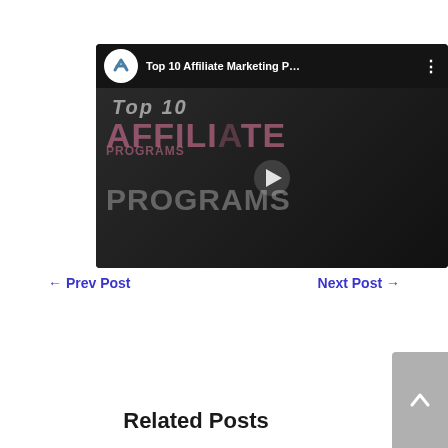[Figure (screenshot): YouTube video embed showing 'Top 10 Affiliate Marketing P...' with channel icon, video title bar, and thumbnail displaying 'AFFILIATE PROGRAMS' text with a play button overlay]
← Prev Post
Next Post →
Related Posts